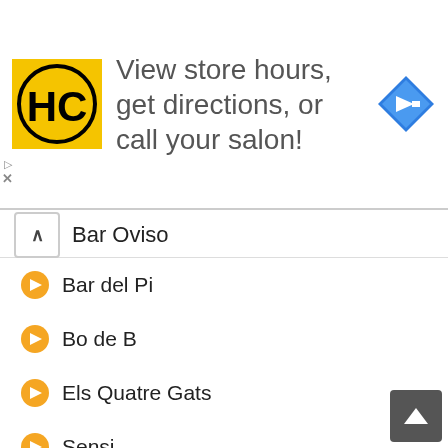[Figure (screenshot): Advertisement banner for Hair Club (HC logo) with text 'View store hours, get directions, or call your salon!' and a blue navigation/directions diamond icon]
Bar Oviso
Bar del Pi
Bo de B
Els Quatre Gats
Sensi
Carabassa Restaurant
La Dentellière
Café de l'Académica